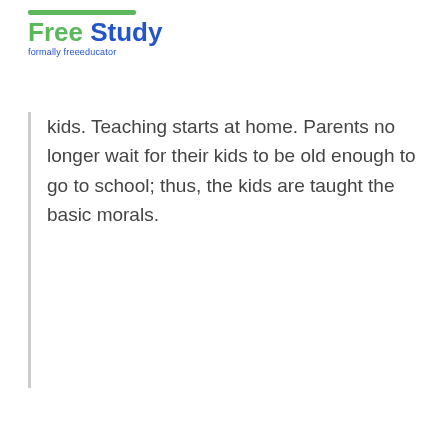Free Study formally freeeducator
kids. Teaching starts at home. Parents no longer wait for their kids to be old enough to go to school; thus, the kids are taught the basic morals.